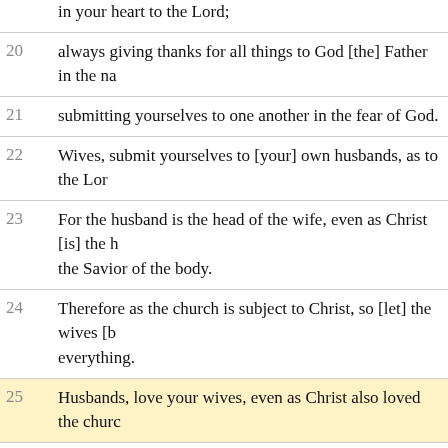in your heart to the Lord;
20 always giving thanks for all things to God [the] Father in the na
21 submitting yourselves to one another in the fear of God.
22 Wives, submit yourselves to [your] own husbands, as to the Lor
23 For the husband is the head of the wife, even as Christ [is] the h the Savior of the body.
24 Therefore as the church is subject to Christ, so [let] the wives [b everything.
25 Husbands, love your wives, even as Christ also loved the churc
26 that He might sanctify and cleanse it with the washing of water
27 that He might present it to Himself [as] the glorious church, wit such things, but that it should be holy and without blemish.